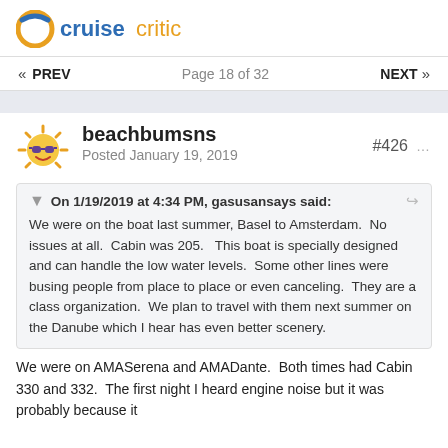[Figure (logo): Cruise Critic logo with orange/blue circular icon and text 'cruisecritic']
« PREV   Page 18 of 32   NEXT »
beachbumsns
Posted January 19, 2019
#426
On 1/19/2019 at 4:34 PM, gasusansays said:
We were on the boat last summer, Basel to Amsterdam.  No issues at all.  Cabin was 205.   This boat is specially designed and can handle the low water levels.  Some other lines were busing people from place to place or even canceling.  They are a class organization.  We plan to travel with them next summer on the Danube which I hear has even better scenery.
We were on AMASerena and AMADante.  Both times had Cabin 330 and 332.  The first night I heard engine noise but it was probably because it